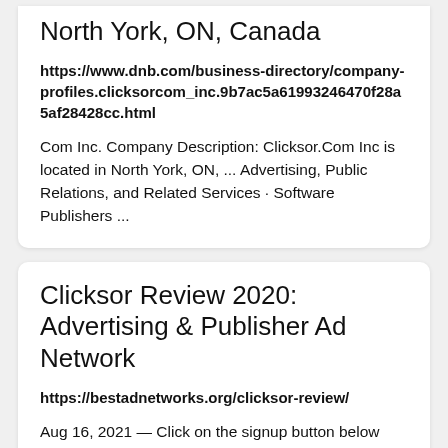Clicksor.Com Inc Company Profile | North York, ON, Canada
https://www.dnb.com/business-directory/company-profiles.clicksorcom_inc.9b7ac5a61993246470f28a5af28428cc.html
Com Inc. Company Description: Clicksor.Com Inc is located in North York, ON, ... Advertising, Public Relations, and Related Services · Software Publishers ...
Clicksor Review 2020: Advertising & Publisher Ad Network
https://bestadnetworks.org/clicksor-review/
Aug 16, 2021 — Click on the signup button below and fill the free sign up form. Filling the form takes only a minute and your account will be instantly created ...